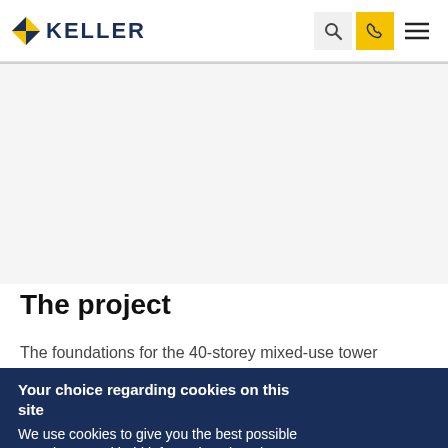KELLER
[Figure (photo): Large image placeholder area, grey background, likely a photo of a construction or tower project site]
The project
The foundations for the 40-storey mixed-use tower
Your choice regarding cookies on this site
We use cookies to give you the best possible experience and hold information about how you use